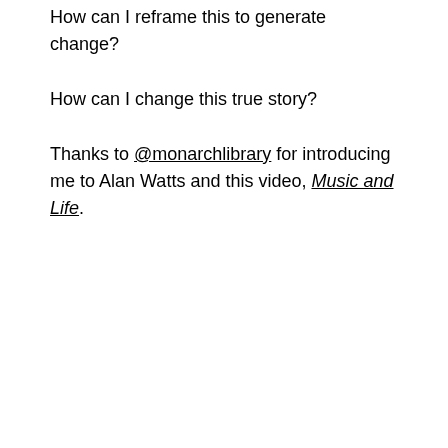How can I reframe this to generate change?
How can I change this true story?
Thanks to @monarchlibrary for introducing me to Alan Watts and this video, Music and Life.